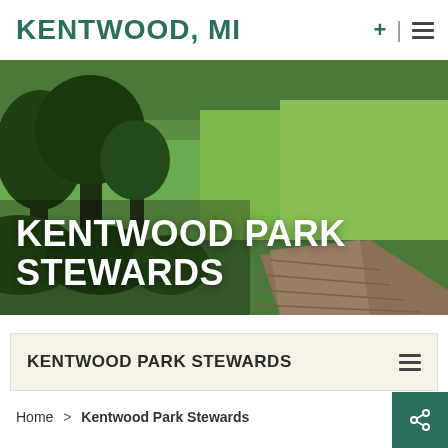KENTWOOD, MI
[Figure (photo): Outdoor park scene with trees, tall green grasses, and a wooden boardwalk extending into the distance. White bold text overlay reads 'KENTWOOD PARK STEWARDS'.]
KENTWOOD PARK STEWARDS
KENTWOOD PARK STEWARDS
Home > Kentwood Park Stewards